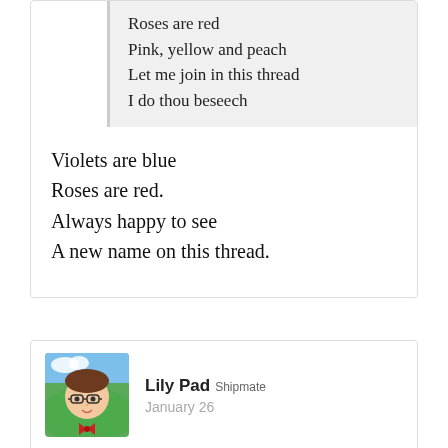Roses are red
Pink, yellow and peach
Let me join in this thread
I do thou beseech
Violets are blue
Roses are red.
Always happy to see
A new name on this thread.
[Figure (illustration): Avatar illustration of a woman with glasses and red bow, green background]
Lily Pad Shipmate
January 26
Roses are red
I like them lots
New friends? All good.
Being a better person the...